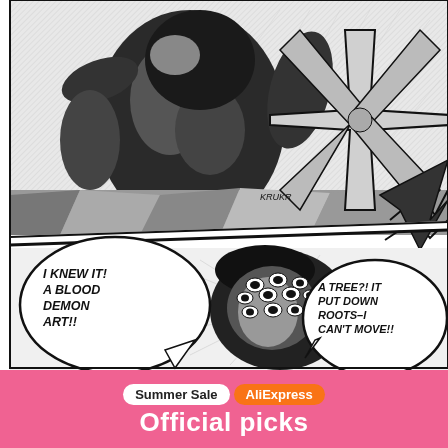[Figure (illustration): Manga comic page with two panels. Top panel shows a muscular creature/demon being struck, with a large X-shaped impact effect and the sound effect 'KRUKR'. Bottom panel shows a character with many eyes looking up, with two speech bubbles: 'I KNEW IT! A BLOOD DEMON ART!!' on the left and 'A TREE?! IT PUT DOWN ROOTS-I CAN'T MOVE!!' on the right.]
Summer Sale AliExpress
Official picks